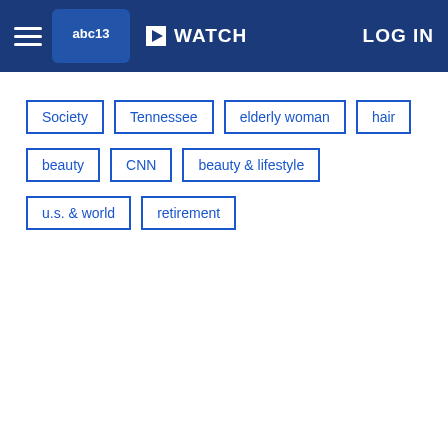abc13 | WATCH | LOG IN
Society
Tennessee
elderly woman
hair
beauty
CNN
beauty & lifestyle
u.s. & world
retirement